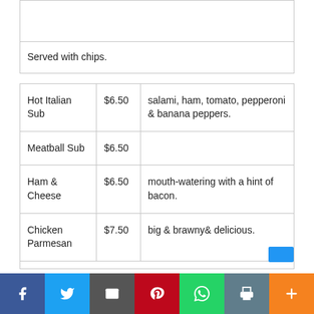| Item | Price | Description |
| --- | --- | --- |
|  |  |  |
| Served with chips. |  |  |
| Hot Italian Sub | $6.50 | salami, ham, tomato, pepperoni & banana peppers. |
| Meatball Sub | $6.50 |  |
| Ham & Cheese | $6.50 | mouth-watering with a hint of bacon. |
| Chicken Parmesan | $7.50 | big & brawny& delicious. |
|  |  |  |